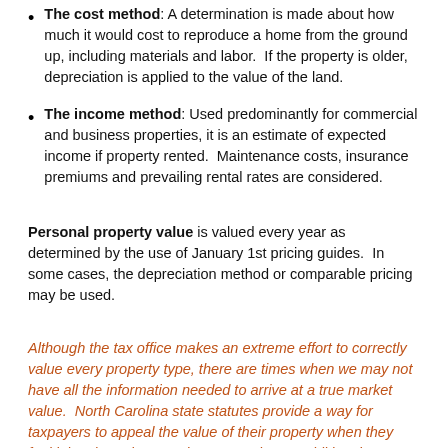The cost method: A determination is made about how much it would cost to reproduce a home from the ground up, including materials and labor. If the property is older, depreciation is applied to the value of the land.
The income method: Used predominantly for commercial and business properties, it is an estimate of expected income if property rented. Maintenance costs, insurance premiums and prevailing rental rates are considered.
Personal property value is valued every year as determined by the use of January 1st pricing guides. In some cases, the depreciation method or comparable pricing may be used.
Although the tax office makes an extreme effort to correctly value every property type, there are times when we may not have all the information needed to arrive at a true market value. North Carolina state statutes provide a way for taxpayers to appeal the value of their property when they feel it has been incorrectly assessed. For additional information visit the